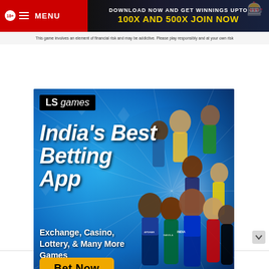[Figure (infographic): Top banner ad: MENU button on red background, promotional text 'DOWNLOAD NOW AND GET WINNINGS UPTO 100X AND 500X JOIN NOW' in yellow/gold on dark background, with disclaimer text below]
[Figure (infographic): LS games India's Best Betting App advertisement with cricket/sports players. Text: India's Best Betting App, Exchange, Casino, Lottery, & Many More Games. Yellow 'Bet Now' button. Blue diamond background.]
ADVERTISE WITH US  Mo. 8407908145